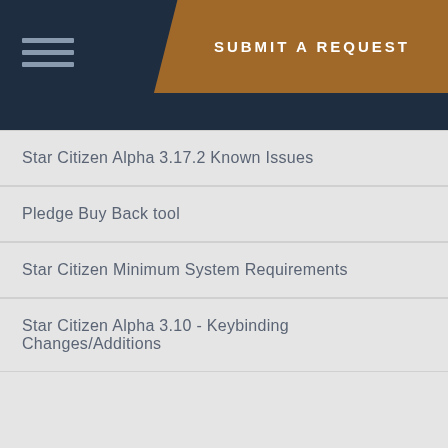SUBMIT A REQUEST
Star Citizen Alpha 3.17.2 Known Issues
Pledge Buy Back tool
Star Citizen Minimum System Requirements
Star Citizen Alpha 3.10 - Keybinding Changes/Additions